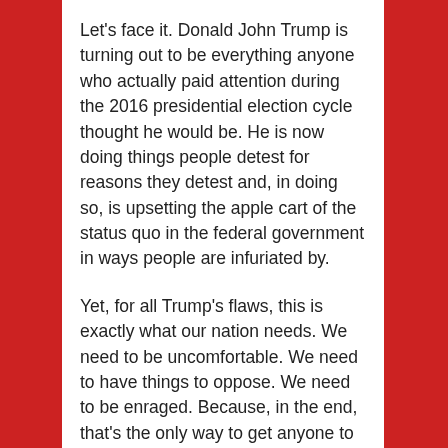Let's face it. Donald John Trump is turning out to be everything anyone who actually paid attention during the 2016 presidential election cycle thought he would be. He is now doing things people detest for reasons they detest and, in doing so, is upsetting the apple cart of the status quo in the federal government in ways people are infuriated by.
Yet, for all Trump's flaws, this is exactly what our nation needs. We need to be uncomfortable. We need to have things to oppose. We need to be enraged. Because, in the end, that's the only way to get anyone to participate anymore.
You see, American politics is and always has been a full contact sport, but during my lifetime, millions of Americans have either stopped participating altogether or have convinced themselves that participation involves nothing more than voting every couple of years.
With the election of Trump and all that entails, things have